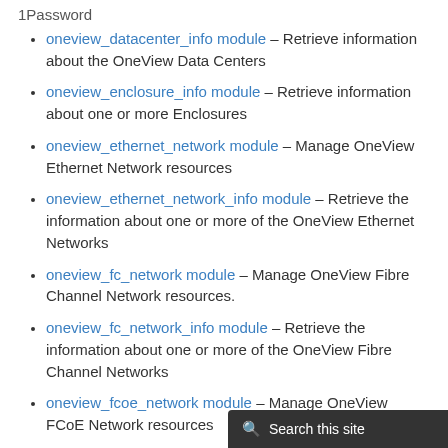oneview_datacenter_info module – Retrieve information about the OneView Data Centers
oneview_enclosure_info module – Retrieve information about one or more Enclosures
oneview_ethernet_network module – Manage OneView Ethernet Network resources
oneview_ethernet_network_info module – Retrieve the information about one or more of the OneView Ethernet Networks
oneview_fc_network module – Manage OneView Fibre Channel Network resources.
oneview_fc_network_info module – Retrieve the information about one or more of the OneView Fibre Channel Networks
oneview_fcoe_network module – Manage OneView FCoE Network resources
oneview_fcoe_network_info module – Retrieve the information about one or more of